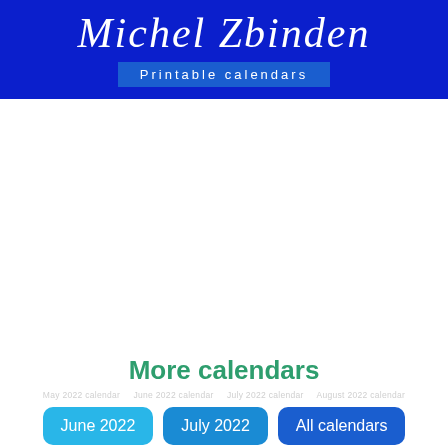Michel Zbinden
Printable calendars
More calendars
June 2022
July 2022
All calendars